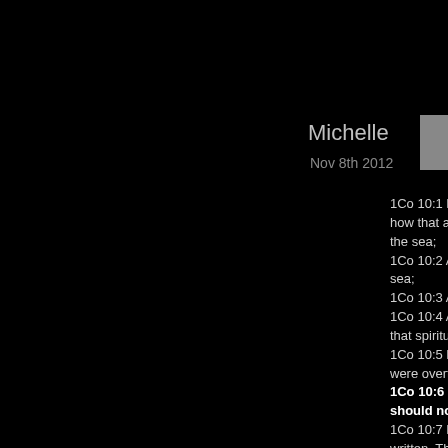Michelle
Nov 8th 2012
1Co 10:1 M how that al the sea; 1Co 10:2 A sea; 1Co 10:3 A 1Co 10:4 A that spiritua 1Co 10:5 B were overth 1Co 10:6 N should not 1Co 10:7 N written, The 1Co 10:8 committed, 1Co 10:9 N